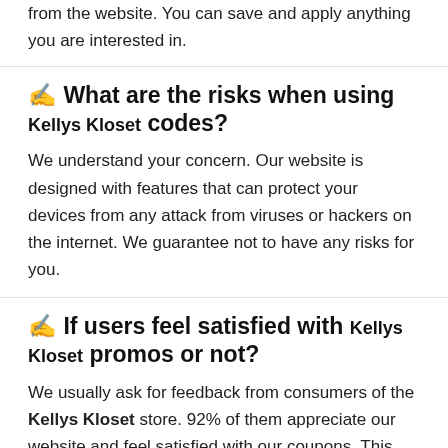from the website. You can save and apply anything you are interested in.
✍ What are the risks when using Kellys Kloset codes?
We understand your concern. Our website is designed with features that can protect your devices from any attack from viruses or hackers on the internet. We guarantee not to have any risks for you.
✍ If users feel satisfied with Kellys Kloset promos or not?
We usually ask for feedback from consumers of the Kellys Kloset store. 92% of them appreciate our website and feel satisfied with our coupons. This